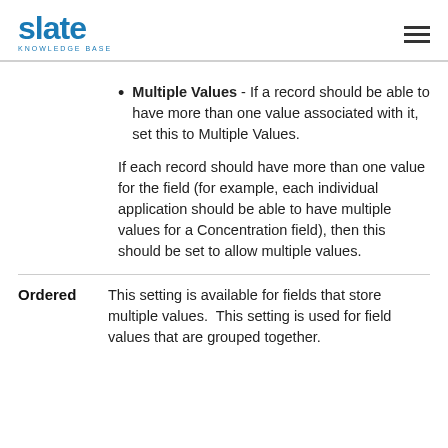[Figure (logo): Slate Knowledge Base logo with blue 'slate' text and 'KNOWLEDGE BASE' subtitle, with hamburger menu icon on the right]
Multiple Values - If a record should be able to have more than one value associated with it, set this to Multiple Values.
If each record should have more than one value for the field (for example, each individual application should be able to have multiple values for a Concentration field), then this should be set to allow multiple values.
Ordered   This setting is available for fields that store multiple values.  This setting is used for field values that are grouped together.